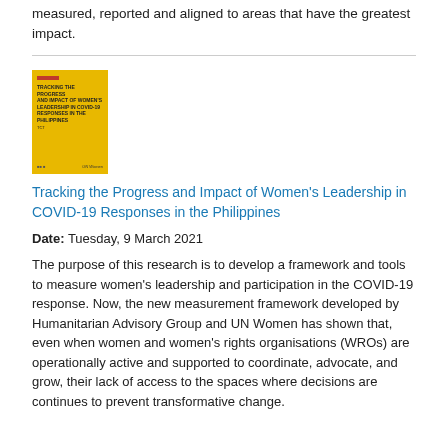measured, reported and aligned to areas that have the greatest impact.
[Figure (illustration): Yellow book cover for 'Tracking the Progress and Impact of Women's Leadership in COVID-19 Responses in the Philippines']
Tracking the Progress and Impact of Women's Leadership in COVID-19 Responses in the Philippines
Date: Tuesday, 9 March 2021
The purpose of this research is to develop a framework and tools to measure women's leadership and participation in the COVID-19 response. Now, the new measurement framework developed by Humanitarian Advisory Group and UN Women has shown that, even when women and women's rights organisations (WROs) are operationally active and supported to coordinate, advocate, and grow, their lack of access to the spaces where decisions are continues to prevent transformative change.